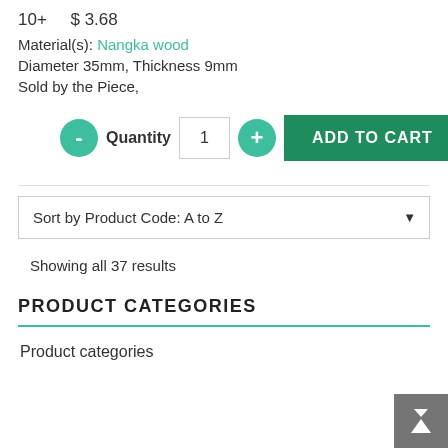10+    $ 3.68
Material(s): Nangka wood
Diameter 35mm, Thickness 9mm
Sold by the Piece,
Quantity 1
ADD TO CART
Sort by Product Code: A to Z
Showing all 37 results
PRODUCT CATEGORIES
Product categories